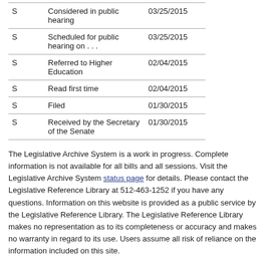| S | Considered in public hearing | 03/25/2015 |
| S | Scheduled for public hearing on . . . | 03/25/2015 |
| S | Referred to Higher Education | 02/04/2015 |
| S | Read first time | 02/04/2015 |
| S | Filed | 01/30/2015 |
| S | Received by the Secretary of the Senate | 01/30/2015 |
The Legislative Archive System is a work in progress. Complete information is not available for all bills and all sessions. Visit the Legislative Archive System status page for details. Please contact the Legislative Reference Library at 512-463-1252 if you have any questions. Information on this website is provided as a public service by the Legislative Reference Library. The Legislative Reference Library makes no representation as to its completeness or accuracy and makes no warranty in regard to its use. Users assume all risk of reliance on the information included on this site.